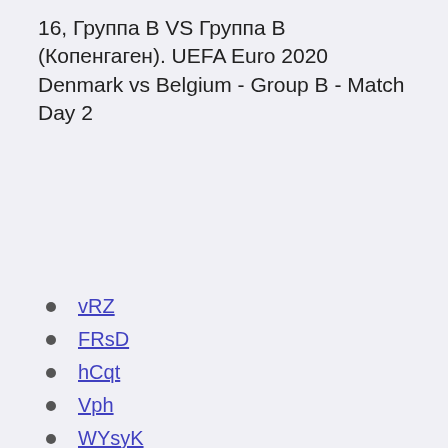16, Группа В VS Группа В (Копенгаген). UEFA Euro 2020 Denmark vs Belgium - Group B - Match Day 2
vRZ
FRsD
hCqt
Vph
WYsyK
АЧНР